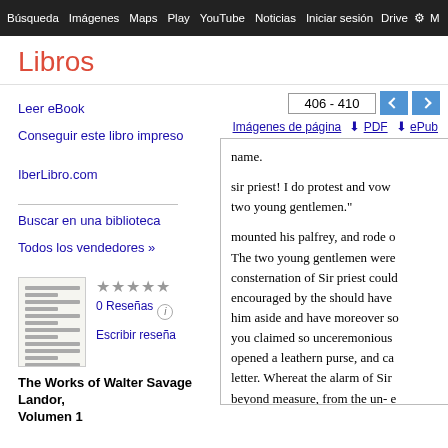Búsqueda  Imágenes  Maps  Play  YouTube  Noticias  Iniciar sesión  Drive  ⚙  M
Libros
406 - 410
Imágenes de página   ⬇ PDF   ⬇ ePub
Leer eBook
Conseguir este libro impreso
IberLibro.com
Buscar en una biblioteca
Todos los vendedores »
★★★★★
0 Reseñas ⓘ
Escribir reseña
The Works of Walter Savage Landor, Volumen 1
name.

sir priest! I do protest and vow two young gentlemen."

mounted his palfrey, and rode o The two young gentlemen were consternation of Sir priest could encouraged by the should have him aside and have moreover so you claimed so unceremonious opened a leathern purse, and ca letter. Whereat the alarm of Sir beyond measure, from the un- e and from the certainty for an en